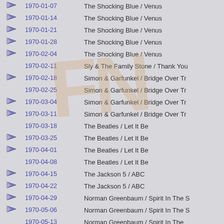|  | Date | Artist / Song |
| --- | --- | --- |
| icon | 1970-01-07 | The Shocking Blue / Venus |
| icon | 1970-01-14 | The Shocking Blue / Venus |
| icon | 1970-01-21 | The Shocking Blue / Venus |
| icon | 1970-01-28 | The Shocking Blue / Venus |
| icon | 1970-02-04 | The Shocking Blue / Venus |
|  | 1970-02-11 | Sly & The Family Stone / Thank You... |
| icon | 1970-02-18 | Simon & Garfunkel / Bridge Over Tr... |
|  | 1970-02-25 | Simon & Garfunkel / Bridge Over Tr... |
| icon | 1970-03-04 | Simon & Garfunkel / Bridge Over Tr... |
| icon | 1970-03-11 | Simon & Garfunkel / Bridge Over Tr... |
|  | 1970-03-18 | The Beatles / Let It Be |
| icon | 1970-03-25 | The Beatles / Let It Be |
| icon | 1970-04-01 | The Beatles / Let It Be |
|  | 1970-04-08 | The Beatles / Let It Be |
| icon | 1970-04-15 | The Jackson 5 / ABC |
| icon | 1970-04-22 | The Jackson 5 / ABC |
| icon | 1970-04-29 | Norman Greenbaum / Spirit In The S... |
| icon | 1970-05-06 | Norman Greenbaum / Spirit In The S... |
|  | 1970-05-13 | Norman Greenbaum / Spirit In The... |